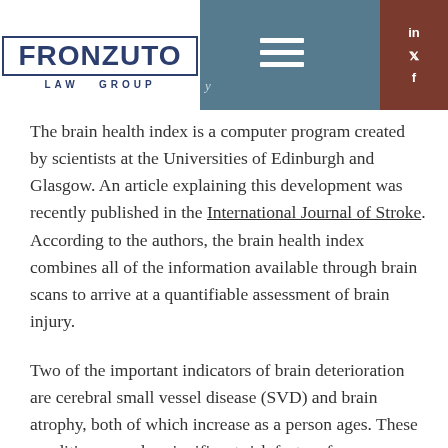Fronzuto Law Group
The brain health index is a computer program created by scientists at the Universities of Edinburgh and Glasgow. An article explaining this development was recently published in the International Journal of Stroke. According to the authors, the brain health index combines all of the information available through brain scans to arrive at a quantifiable assessment of brain injury.
Two of the important indicators of brain deterioration are cerebral small vessel disease (SVD) and brain atrophy, both of which increase as a person ages. These conditions are also significant risk factors for